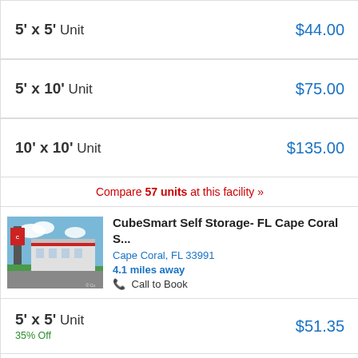5' x 5' Unit — $44.00
5' x 10' Unit — $75.00
10' x 10' Unit — $135.00
Compare 57 units at this facility »
[Figure (photo): Exterior photo of CubeSmart Self Storage facility in Cape Coral, FL with building facade and parking lot]
CubeSmart Self Storage- FL Cape Coral S...
Cape Coral, FL 33991
4.1 miles away
Call to Book
5' x 5' Unit — $51.35 — 35% Off
5' x 10' Unit — $91.65 — 35% Off
10' x 10' Unit — $154.05